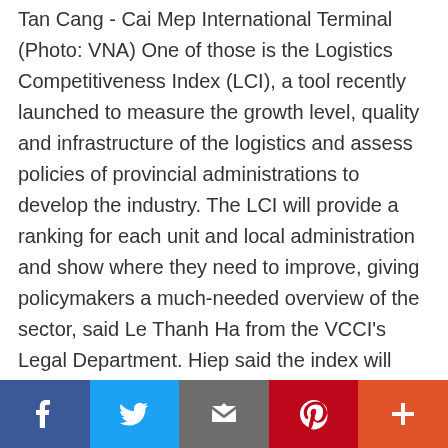Tan Cang - Cai Mep International Terminal (Photo: VNA) One of those is the Logistics Competitiveness Index (LCI), a tool recently launched to measure the growth level, quality and infrastructure of the logistics and assess policies of provincial administrations to develop the industry. The LCI will provide a ranking for each unit and local administration and show where they need to improve, giving policymakers a much-needed overview of the sector, said Le Thanh Ha from the VCCI's Legal Department. Hiep said the index will offer a panorama of the sector in different cities and provinces, on the basis of which policymakers can design policies for local development. It will
[Figure (infographic): Social media share bar with Facebook, Twitter, Email, Pinterest, and More buttons]